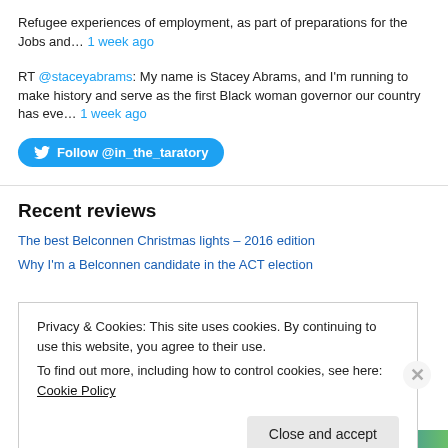Refugee experiences of employment, as part of preparations for the Jobs and… 1 week ago
RT @staceyabrams: My name is Stacey Abrams, and I'm running to make history and serve as the first Black woman governor our country has eve… 1 week ago
[Figure (other): Twitter follow button: Follow @in_the_taratory]
Recent reviews
The best Belconnen Christmas lights – 2016 edition
Why I'm a Belconnen candidate in the ACT election
Privacy & Cookies: This site uses cookies. By continuing to use this website, you agree to their use.
To find out more, including how to control cookies, see here: Cookie Policy
Close and accept